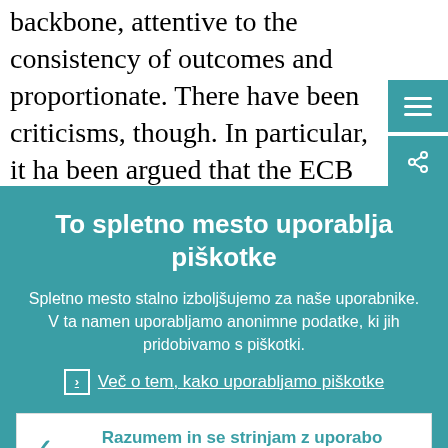backbone, attentive to the consistency of outcomes and proportionate. There have been criticisms, though. In particular, it has been argued that the ECB has trespassed
To spletno mesto uporablja piškotke
Spletno mesto stalno izboljšujemo za naše uporabnike. V ta namen uporabljamo anonimne podatke, ki jih pridobivamo s piškotki.
Več o tem, kako uporabljamo piškotke
Razumem in se strinjam z uporabo piškotkov
Ne strinjam se z uporabo piškotkov